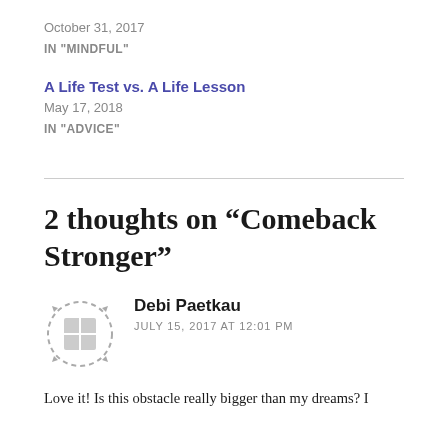October 31, 2017
IN "MINDFUL"
A Life Test vs. A Life Lesson
May 17, 2018
IN "ADVICE"
2 thoughts on “Comeback Stronger”
Debi Paetkau
JULY 15, 2017 AT 12:01 PM
Love it! Is this obstacle really bigger than my dreams? I